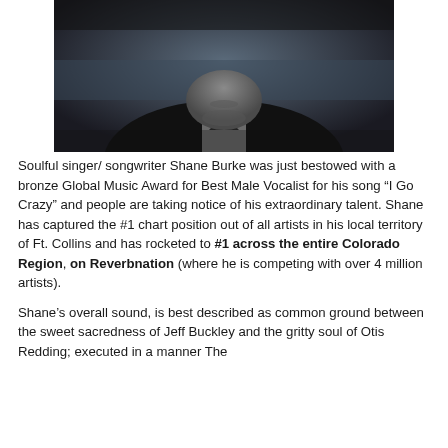[Figure (photo): Black and white close-up photo of a man from chin/neck to forehead, wearing a dark v-neck shirt, with a moody/dark background]
Soulful singer/ songwriter Shane Burke was just bestowed with a bronze Global Music Award for Best Male Vocalist for his song “I Go Crazy” and people are taking notice of his extraordinary talent. Shane has captured the #1 chart position out of all artists in his local territory of Ft. Collins and has rocketed to #1 across the entire Colorado Region, on Reverbnation (where he is competing with over 4 million artists).
Shane’s overall sound, is best described as common ground between the sweet sacredness of Jeff Buckley and the gritty soul of Otis Redding; executed in a manner The